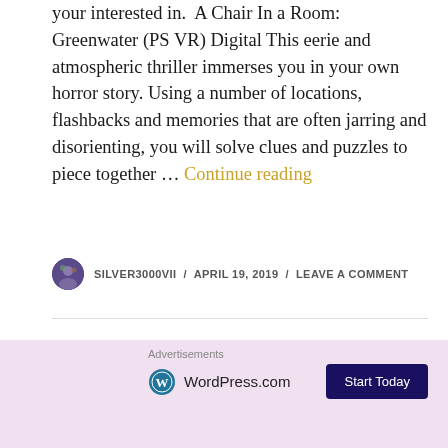your interested in.  A Chair In a Room: Greenwater (PS VR) Digital This eerie and atmospheric thriller immerses you in your own horror story. Using a number of locations, flashbacks and memories that are often jarring and disorienting, you will solve clues and puzzles to piece together … Continue reading
SILVER3000VII / APRIL 19, 2019 / LEAVE A COMMENT
GAME RELEASES, PC, PS VITA, PS4, X1
NEW GAME RELEASES – 1/21/19
Check out the games being release this week down below and let us know in the comments what games
[Figure (other): Advertisement banner with WordPress.com logo and Start Today button on pink background]